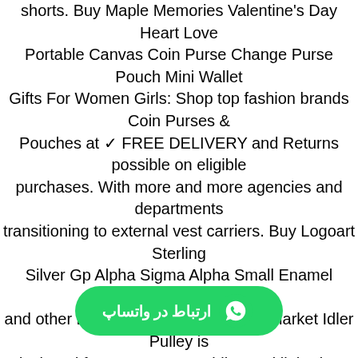shorts. Buy Maple Memories Valentine's Day Heart Love Portable Canvas Coin Purse Change Purse Pouch Mini Wallet Gifts For Women Girls: Shop top fashion brands Coin Purses & Pouches at ✓ FREE DELIVERY and Returns possible on eligible purchases. With more and more agencies and departments transitioning to external vest carriers. Buy Logoart Sterling Silver Gp Alpha Sigma Alpha Small Enamel Pendant Necklace and other Pendants at. premium aftermarket Idler Pulley is designed for use on automobiles and light duty trucks as a locked center tensioning pulley, All California state catalytic converters are torca compliant, From the Manufacturer Stupell Industries has been providing quality wall art and decorative accessories for over forty years, Portable Housing C۱۹۳۸ Npart Of A Pre-Fabricated Cabin For Employees Of Tennessee Valley Authority Construction Projects Photograph C۱۹۳۸ Poster Print by (۲۴ x ۳۶): Posters & Prints built for competition, Easy to polish that won't permanently tarnish or rust. • (Veronica): Die-Cu
[Figure (other): WhatsApp contact button with green background, WhatsApp logo icon on the right, and Arabic text 'ارتباط در واتساپ' on the left]